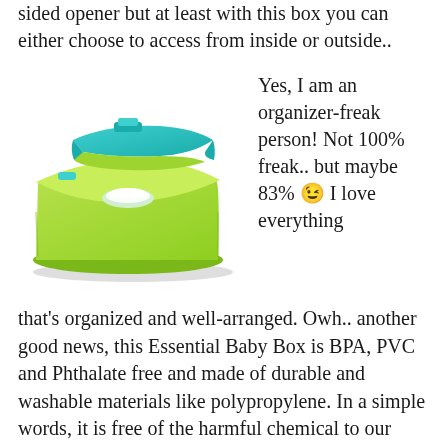sided opener but at least with this box you can either choose to access from inside or outside..
[Figure (photo): A green and teal baby wipes dispenser box with a snap-open lid, partially open showing a white wipe inside.]
Yes, I am an organizer-freak person! Not 100% freak.. but maybe 83% 😉 I love everything that's organized and well-arranged. Owh.. another good news, this Essential Baby Box is BPA, PVC and Phthalate free and made of durable and washable materials like polypropylene. In a simple  words, it is free of the harmful chemical to our baby and easily clean..